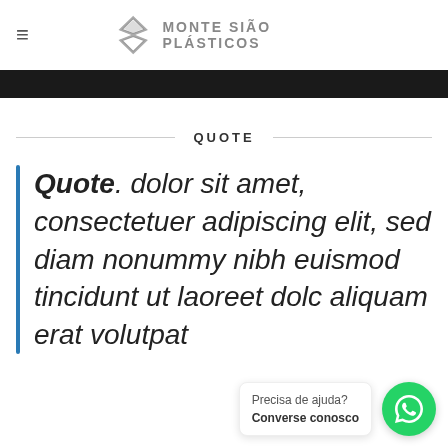Monte Sião Plásticos
[Figure (other): Black navigation bar]
QUOTE
Quote. dolor sit amet, consectetuer adipiscing elit, sed diam nonummy nibh euismod tincidunt ut laoreet dolc aliquam erat volutpat
[Figure (other): WhatsApp chat bubble with text: Precisa de ajuda? Converse conosco]